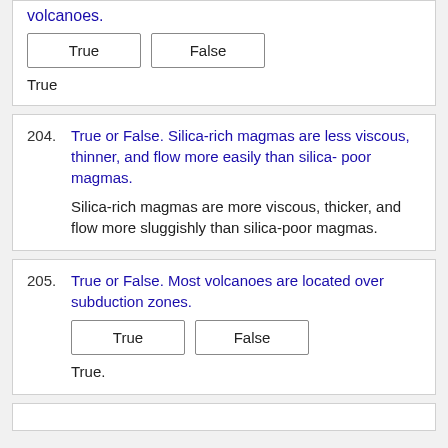volcanoes.
True | False
True
204. True or False. Silica-rich magmas are less viscous, thinner, and flow more easily than silica- poor magmas.
Silica-rich magmas are more viscous, thicker, and flow more sluggishly than silica-poor magmas.
205. True or False. Most volcanoes are located over subduction zones.
True | False
True.